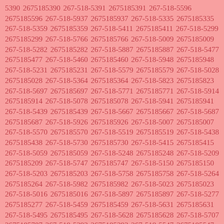5390 2675185390 267-518-5391 2675185391 267-518-5596 2675185596 267-518-5937 2675185937 267-518-5335 2675185335 267-518-5359 2675185359 267-518-5411 2675185411 267-518-5299 2675185299 267-518-5766 2675185766 267-518-5009 2675185009 267-518-5282 2675185282 267-518-5887 2675185887 267-518-5477 2675185477 267-518-5460 2675185460 267-518-5948 2675185948 267-518-5231 2675185231 267-518-5579 2675185579 267-518-5028 2675185028 267-518-5364 2675185364 267-518-5823 2675185823 267-518-5697 2675185697 267-518-5771 2675185771 267-518-5914 2675185914 267-518-5078 2675185078 267-518-5941 2675185941 267-518-5439 2675185439 267-518-5667 2675185667 267-518-5687 2675185687 267-518-5926 2675185926 267-518-5007 2675185007 267-518-5570 2675185570 267-518-5519 2675185519 267-518-5438 2675185438 267-518-5730 2675185730 267-518-5415 2675185415 267-518-5059 2675185059 267-518-5248 2675185248 267-518-5209 2675185209 267-518-5747 2675185747 267-518-5150 2675185150 267-518-5203 2675185203 267-518-5758 2675185758 267-518-5264 2675185264 267-518-5982 2675185982 267-518-5023 2675185023 267-518-5016 2675185016 267-518-5897 2675185897 267-518-5277 2675185277 267-518-5459 2675185459 267-518-5631 2675185631 267-518-5495 2675185495 267-518-5628 2675185628 267-518-5707 2675185707 267-518-5393 2675185393 267-518-5547 2675185547 267-518-5234 2675185234 267-518-5504 2675185504 267-518-5430 2675185430 267-518-5168 2675185168 267-518-5201 2675185201 267-518-5044 2675185044 267-518-5153 2675185153 267-518-5695 2675185695 267-518-